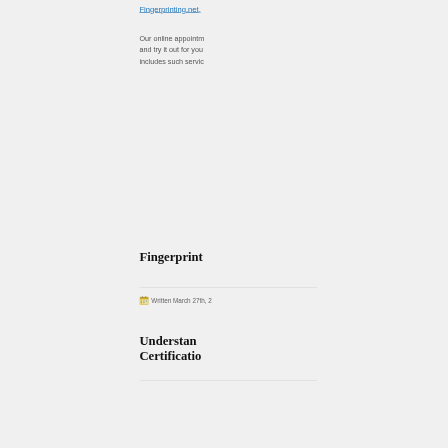Fingerprinting.net.
Our online appointm... and try it out for you... includes such servic...
Fingerprint...
Written March 27th, 2...
Understan... Certificatio...